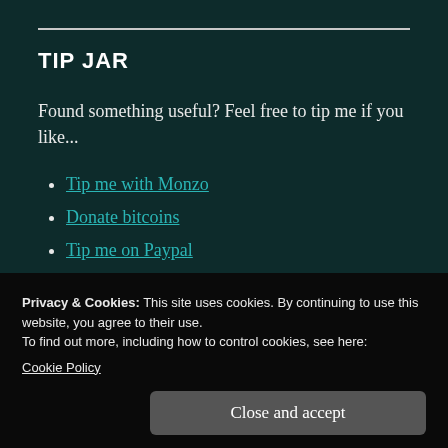TIP JAR
Found something useful? Feel free to tip me if you like...
Tip me with Monzo
Donate bitcoins
Tip me on Paypal
Privacy & Cookies: This site uses cookies. By continuing to use this website, you agree to their use.
To find out more, including how to control cookies, see here: Cookie Policy
Close and accept